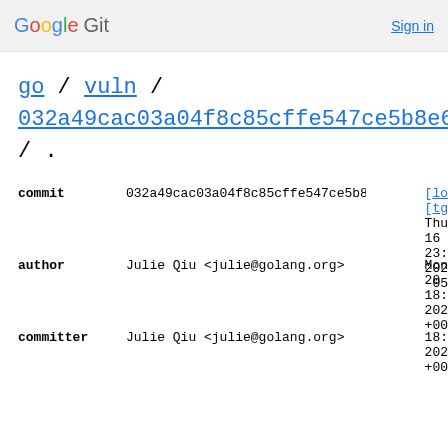Google Git  Sign in
go / vuln / 032a49cac03a04f8c85cffe547ce5b8e6a6052f0^! / .
| field | value | meta |
| --- | --- | --- |
| commit | 032a49cac03a04f8c85cffe547ce5b8e6a6052f0 | [lo [tg Thu 16 23: 202 -05 |
| author | Julie Qiu <julie@golang.org> | Mon 20 18: 202 +00 |
| committer | Julie Qiu <julie@golang.org> | 202 +00 |